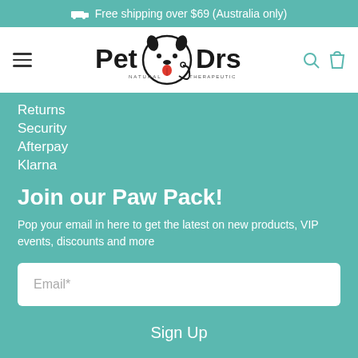Free shipping over $69 (Australia only)
[Figure (logo): Pet Drs Natural Therapeutic logo with dog face and stethoscope]
Returns
Security
Afterpay
Klarna
Join our Paw Pack!
Pop your email in here to get the latest on new products, VIP events, discounts and more
Email*
Sign Up